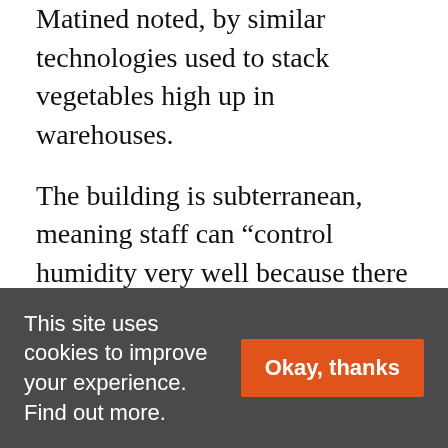Matined noted, by similar technologies used to stack vegetables high up in warehouses.
The building is subterranean, meaning staff can “control humidity very well because there is no impact from weather. It gives us great climatic control, all of which is made possible through the custom-made design of the building,” he explained.
This site uses cookies to improve your experience. Find out more.